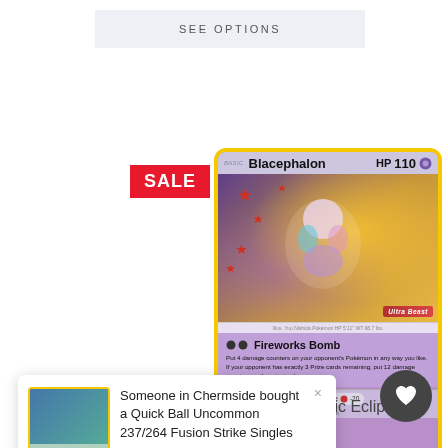SEE OPTIONS
[Figure (illustration): Blacephalon Pokemon card with SALE badge. Shows the Blacephalon Ultra Beast card with 110 HP, Fireworks Bomb attack, purple background, yellow border.]
SALE
Someone in Chermside bought a Quick Ball Uncommon 237/264 Fusion Strike Singles
6 hours ago
nic Eclipse
Now from $1.76 AUD